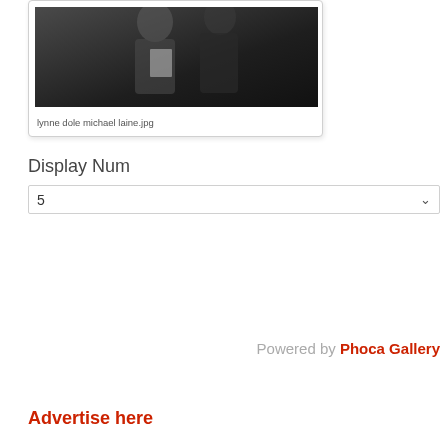[Figure (photo): Partial view of a photo card showing two people (partially visible at top), one holding a paper, outdoors. Filename shown below: lynne dole michael laine.jpg]
lynne dole michael laine.jpg
Display Num
5
Powered by Phoca Gallery
Advertise here